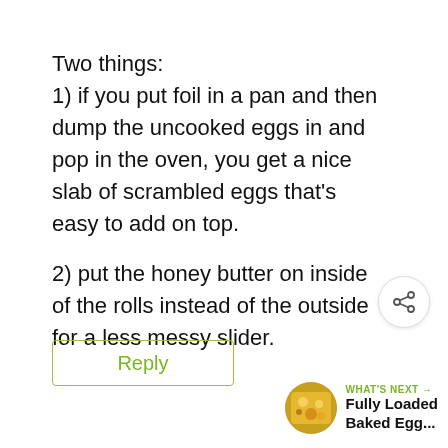Two things:
1) if you put foil in a pan and then dump the uncooked eggs in and pop in the oven, you get a nice slab of scrambled eggs that's easy to add on top.
2) put the honey butter on inside of the rolls instead of the outside for a less messy slider.
Reply
[Figure (infographic): Heart/like button (green circle with heart icon), count 218, share button]
[Figure (infographic): What's Next panel: circular food photo thumbnail, label 'WHAT'S NEXT →', title 'Fully Loaded Baked Egg...']